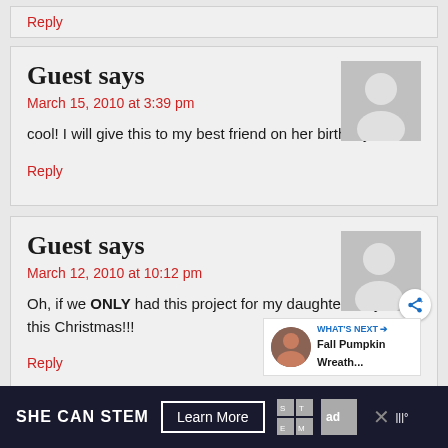Reply
Guest says
March 15, 2010 at 3:39 pm
cool! I will give this to my best friend on her birthday!!!
Reply
Guest says
March 12, 2010 at 10:12 pm
Oh, if we ONLY had this project for my daughters boyfriend this Christmas!!!
Reply
SHE CAN STEM Learn More